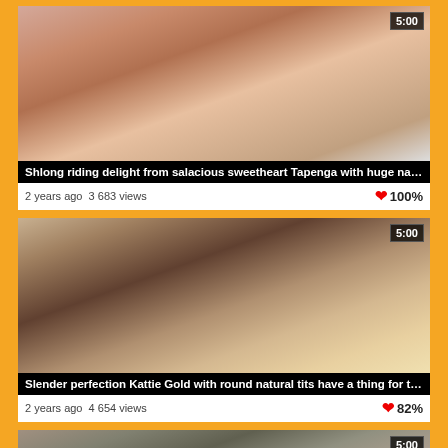[Figure (screenshot): Video thumbnail 1: adult content video thumbnail showing two people]
Shlong riding delight from salacious sweetheart Tapenga with huge natural tits
2 years ago  3 683 views   100%
[Figure (screenshot): Video thumbnail 2: adult content video thumbnail showing two people on a bed]
Slender perfection Kattie Gold with round natural tits have a thing for the same bf and ...
2 years ago  4 654 views   82%
[Figure (screenshot): Video thumbnail 3: partial adult content video thumbnail (cropped)]